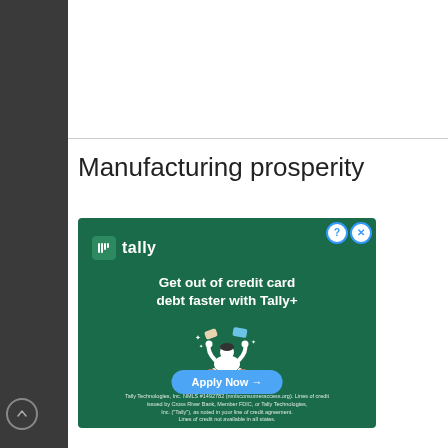Manufacturing prosperity
[Figure (other): Tally financial advertisement. Dark green background with Tally logo (white 'T' in box + wordmark). Headline: 'Get out of credit card debt faster with Tally+'. Illustration of person meditating with credit cards floating. Button: 'Apply Now →'. Fine print: 'Tally Technologies, Inc. NMLS #1492782 (nmlsconsumeraccess.org). Lines of credit issued by Cross River Bank, Member FDIC, or Tally Technologies, Inc. ("Tally"), as noted in your line of credit agreement. Lines of credit not available in all states.']